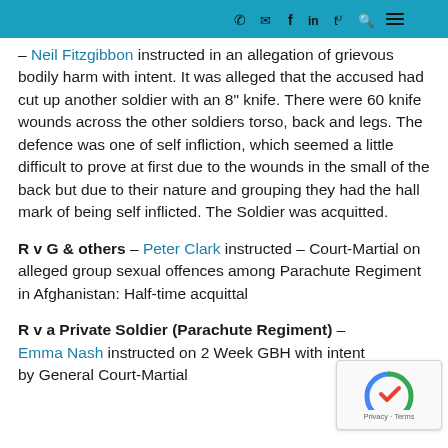icons: phone, mail, facebook, linkedin, twitter, search, menu
– Neil Fitzgibbon instructed in an allegation of grievous bodily harm with intent. It was alleged that the accused had cut up another soldier with an 8" knife. There were 60 knife wounds across the other soldiers torso, back and legs. The defence was one of self infliction, which seemed a little difficult to prove at first due to the wounds in the small of the back but due to their nature and grouping they had the hall mark of being self inflicted. The Soldier was acquitted.
R v G & others – Peter Clark instructed – Court-Martial on alleged group sexual offences among Parachute Regiment in Afghanistan: Half-time acquittal
R v a Private Soldier (Parachute Regiment) – Emma Nash instructed on 2 Week GBH with intent by General Court-Martial